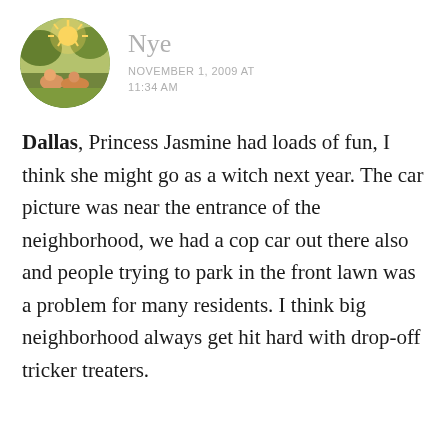[Figure (photo): Circular avatar photo of a person sitting outdoors in sunlight with a warm golden sunburst effect]
Nye
NOVEMBER 1, 2009 AT 11:34 AM
Dallas, Princess Jasmine had loads of fun, I think she might go as a witch next year. The car picture was near the entrance of the neighborhood, we had a cop car out there also and people trying to park in the front lawn was a problem for many residents. I think big neighborhood always get hit hard with drop-off tricker treaters.